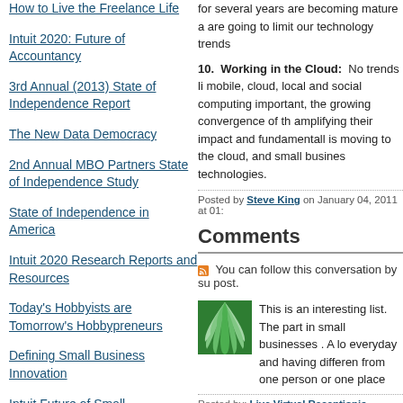How to Live the Freelance Life
Intuit 2020: Future of Accountancy
3rd Annual (2013) State of Independence Report
The New Data Democracy
2nd Annual MBO Partners State of Independence Study
State of Independence in America
Intuit 2020 Research Reports and Resources
Today's Hobbyists are Tomorrow's Hobbypreneurs
Defining Small Business Innovation
Intuit Future of Small
for several years are becoming mature a are going to limit our technology trends
10.  Working in the Cloud:  No trends li mobile, cloud, local and social computing important, the growing convergence of th amplifying their impact and fundamentall is moving to the cloud, and small busines technologies.
Posted by Steve King on January 04, 2011 at 01:
Comments
You can follow this conversation by su post.
This is an interesting list. The part in small businesses . A lo everyday and having differen from one person or one place
Posted by: Live Virtual Receptionis